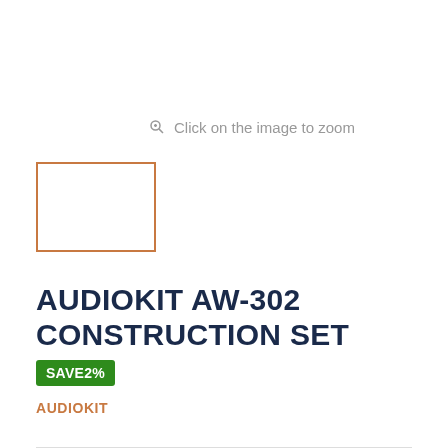Click on the image to zoom
[Figure (other): Product thumbnail placeholder — empty orange-bordered rectangle]
AUDIOKIT AW-302 CONSTRUCTION SET
SAVE2%
AUDIOKIT